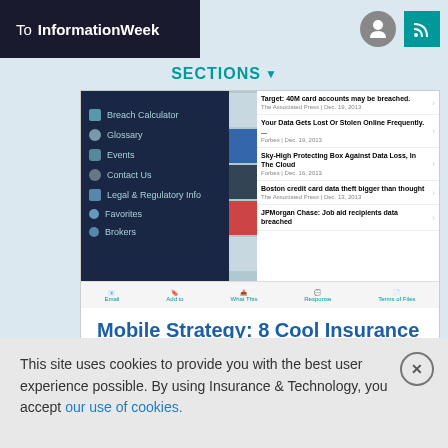To InformationWeek
SECTIONS
[Figure (screenshot): Screenshot of InformationWeek/Insurance & Technology website showing a left navigation panel with items: Breach Calculator, Glossary, Events, Contact Us, Legal & Regulatory Info, Favorites, Brokers, and a right panel with news headlines about data breaches including Target card accounts, Your Data Gets Lost Or Stolen Online Frequently, Sky-High Protecting Box Against Data Loss In The Cloud, Boston credit card data theft bigger than thought, JPMorgan Chase job aid recipients data breached]
Mobile Strategy: 8 Cool Insurance Apps
Cyber-Security In Insurance: 7 Things To Know
7 Tech Skills for Insurance Pros
This site uses cookies to provide you with the best user experience possible. By using Insurance & Technology, you accept our use of cookies.